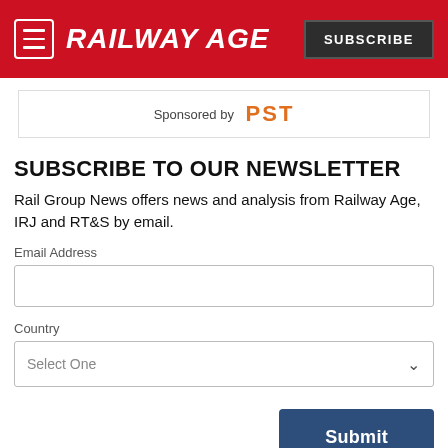RAILWAY AGE | SUBSCRIBE
Sponsored by PST
SUBSCRIBE TO OUR NEWSLETTER
Rail Group News offers news and analysis from Railway Age, IRJ and RT&S by email.
Email Address
Country
Submit